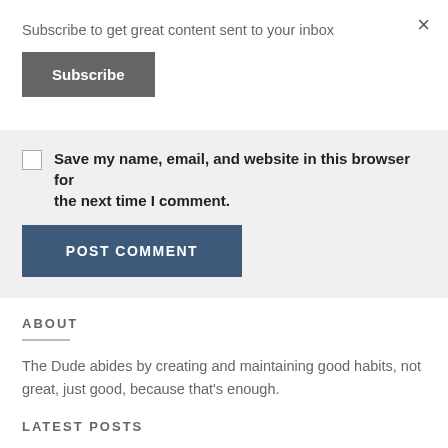Subscribe to get great content sent to your inbox
Subscribe
×
Save my name, email, and website in this browser for the next time I comment.
POST COMMENT
ABOUT
The Dude abides by creating and maintaining good habits, not great, just good, because that's enough.
LATEST POSTS